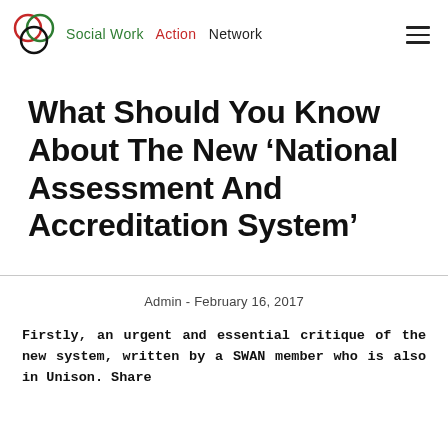Social Work Action Network
What Should You Know About The New ‘National Assessment And Accreditation System’
Admin - February 16, 2017
Firstly, an urgent and essential critique of the new system, written by a SWAN member who is also in Unison. Share